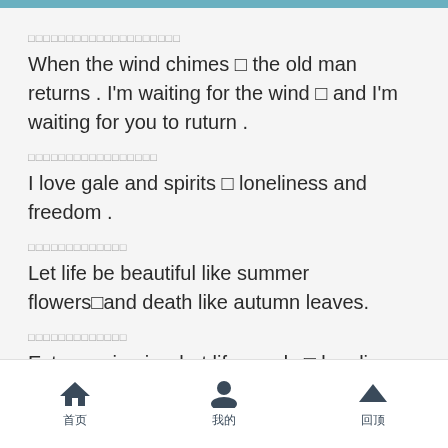□□□□□□□□□□□□□□□□□□□□
When the wind chimes □ the old man returns . I'm waiting for the wind □ and I'm waiting for you to ruturn .
□□□□□□□□□□□□□□□□□
I love gale and spirits □ loneliness and freedom .
□□□□□□□□□□□□□
Let life be beautiful like summer flowers□and death like autumn leaves.
□□□□□□□□□□□□□
Extroversion is what life needs □ loneliness is self enjoyment .
首页  我的  回顶